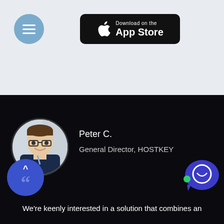[Figure (screenshot): Light grey top section with a circular blue hamburger menu button on the left and a black Download on the App Store button in the center.]
[Figure (photo): Circular profile photo of a smiling man with glasses wearing a dark jacket with a lanyard.]
Peter C.
General Director, HOSTKEY
[Figure (illustration): Dark blue circular icon with up arrow and large quotation marks overlay; chat bubble icon with green dot in lower right corner.]
We're keenly interested in a solution that combines an